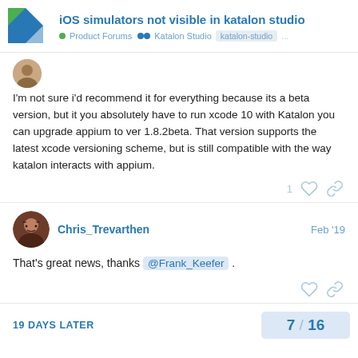iOS simulators not visible in katalon studio — Product Forums • Katalon Studio • katalon-studio ...
I'm not sure i'd recommend it for everything because its a beta version, but it you absolutely have to run xcode 10 with Katalon you can upgrade appium to ver 1.8.2beta. That version supports the latest xcode versioning scheme, but is still compatible with the way katalon interacts with appium.
Chris_Trevarthen   Feb '19
That's great news, thanks @Frank_Keefer .
19 DAYS LATER
7 / 16